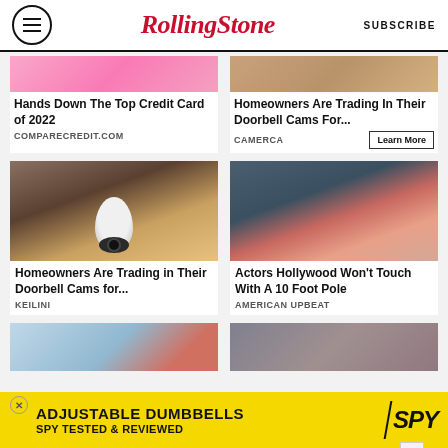RollingStone | SUBSCRIBE
[Figure (photo): Cropped image of person in pink/orange top]
Hands Down The Top Credit Card of 2022
COMPARECREDIT.COM
[Figure (photo): Cropped image of person with tan/brown tones]
Homeowners Are Trading In Their Doorbell Cams For...
CAMERCA
Learn More
[Figure (photo): Hand holding a bulb-shaped security camera]
Homeowners Are Trading in Their Doorbell Cams for...
KEILINI
[Figure (photo): Red-haired actress at event, blue and gold background]
Actors Hollywood Won't Touch With A 10 Foot Pole
AMERICAN UPBEAT
[Figure (map): US map with red and blue states]
[Figure (photo): Woman with brown hair]
[Figure (infographic): ADJUSTABLE DUMBBELLS - SPY TESTED & REVIEWED advertisement banner in yellow]